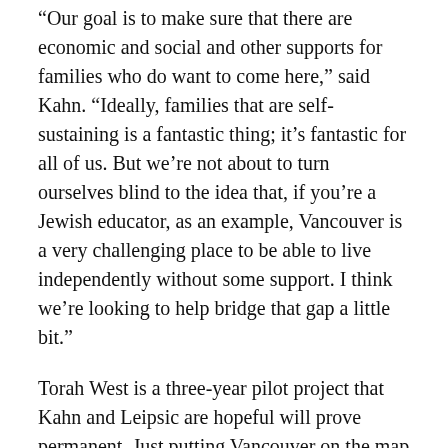“Our goal is to make sure that there are economic and social and other supports for families who do want to come here,” said Kahn. “Ideally, families that are self-sustaining is a fantastic thing; it’s fantastic for all of us. But we’re not about to turn ourselves blind to the idea that, if you’re a Jewish educator, as an example, Vancouver is a very challenging place to be able to live independently without some support. I think we’re looking to help bridge that gap a little bit.”
Torah West is a three-year pilot project that Kahn and Leipsic are hopeful will prove permanent. Just putting Vancouver on the map as a possible home will be a success.
“When people are thinking about relocating, Vancouver is not even in their consciousness,” Kahn said of many Orthodox families. “Our goal is to